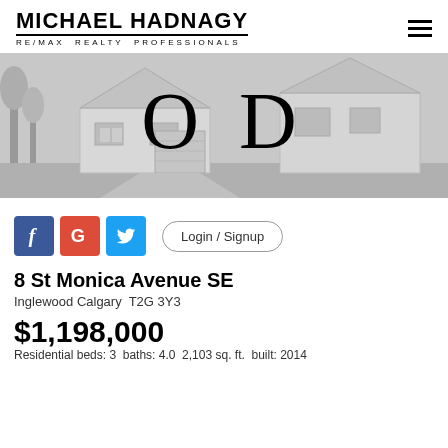MICHAEL HADNAGY
RE/MAX REALTY PROFESSIONALS
[Figure (photo): Hero banner showing a residential house exterior in grayscale with large letters O D overlaid in black serif font]
[Figure (infographic): Social media login buttons: Facebook (blue), Google (red), Twitter (blue), and a Login/Signup button]
8 St Monica Avenue SE
Inglewood Calgary  T2G 3Y3
$1,198,000
Residential beds: 3  baths: 4.0  2,103 sq. ft.  built: 2014